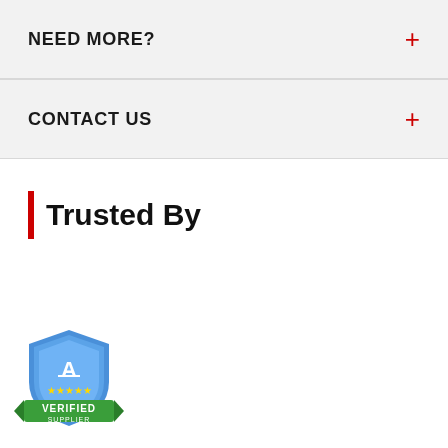NEED MORE?
CONTACT US
Trusted By
[Figure (logo): Authorized Verified Supplier badge with blue shield, green banner, and gold stars]